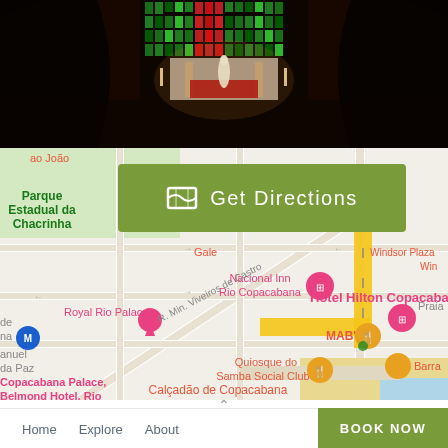[Figure (photo): Interior of a church or cathedral with colorful stained glass windows and a statue, photographed with a wide-angle/fisheye lens]
[Figure (map): Google Maps screenshot showing Copacabana area in Rio de Janeiro, with landmarks including Hotel Hilton Copacabana, Nacional Inn Rio Copacabana, Royal Rio Palace, Parque Estadual da Chacrinha, MAB'S, Quiosque do Samba Social Clube, Calçadão de Copacabana, and a route highlighted in yellow/gold]
Get Directions
Home
Explore
About
BOOK NOW